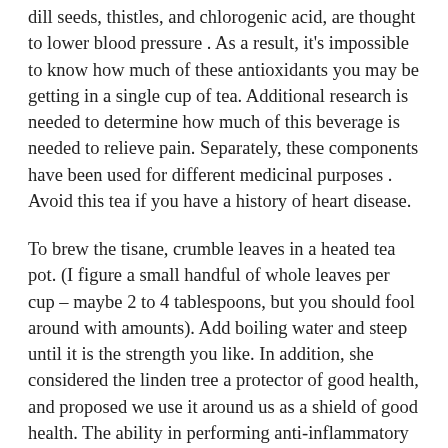dill seeds, thistles, and chlorogenic acid, are thought to lower blood pressure . As a result, it's impossible to know how much of these antioxidants you may be getting in a single cup of tea. Additional research is needed to determine how much of this beverage is needed to relieve pain. Separately, these components have been used for different medicinal purposes . Avoid this tea if you have a history of heart disease.
To brew the tisane, crumble leaves in a heated tea pot. (I figure a small handful of whole leaves per cup – maybe 2 to 4 tablespoons, but you should fool around with amounts). Add boiling water and steep until it is the strength you like. In addition, she considered the linden tree a protector of good health, and proposed we use it around us as a shield of good health. The ability in performing anti-inflammatory property is also enable linden leaves to relieve rheumatism.